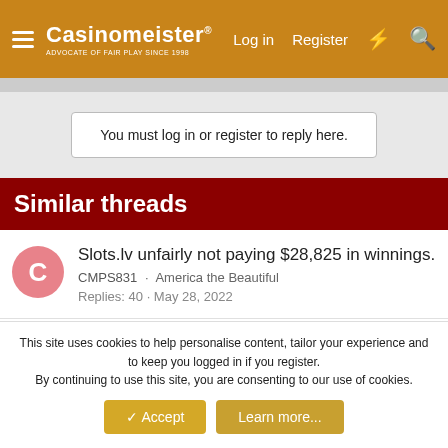Casinomeister — Log in | Register
You must log in or register to reply here.
Similar threads
Slots.lv unfairly not paying $28,825 in winnings. — CMPS831 · America the Beautiful — Replies: 40 · May 28, 2022
Your favorite USA facing casinos? — zreb · America the Beautiful — Replies: 30 · Feb 12, 2021
Red Lion Withdrawal Issues (Yes, another!)
This site uses cookies to help personalise content, tailor your experience and to keep you logged in if you register. By continuing to use this site, you are consenting to our use of cookies.